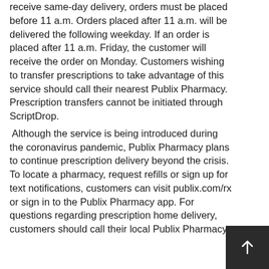receive same-day delivery, orders must be placed before 11 a.m. Orders placed after 11 a.m. will be delivered the following weekday. If an order is placed after 11 a.m. Friday, the customer will receive the order on Monday. Customers wishing to transfer prescriptions to take advantage of this service should call their nearest Publix Pharmacy. Prescription transfers cannot be initiated through ScriptDrop.
Although the service is being introduced during the coronavirus pandemic, Publix Pharmacy plans to continue prescription delivery beyond the crisis. To locate a pharmacy, request refills or sign up for text notifications, customers can visit publix.com/rx or sign in to the Publix Pharmacy app. For questions regarding prescription home delivery, customers should call their local Publix Pharmacy.